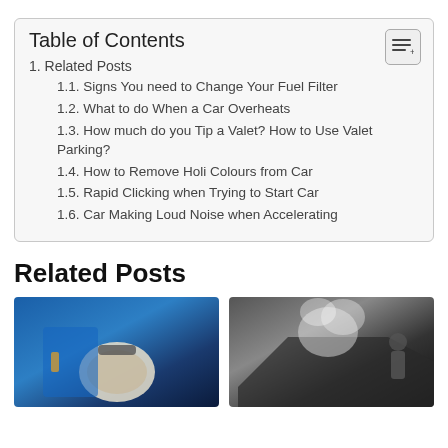Table of Contents
1. Related Posts
1.1. Signs You need to Change Your Fuel Filter
1.2. What to do When a Car Overheats
1.3. How much do you Tip a Valet? How to Use Valet Parking?
1.4. How to Remove Holi Colours from Car
1.5. Rapid Clicking when Trying to Start Car
1.6. Car Making Loud Noise when Accelerating
Related Posts
[Figure (photo): Mechanic in blue uniform holding a car air/fuel filter]
[Figure (photo): Car with hood open and steam/smoke coming out, person standing nearby]